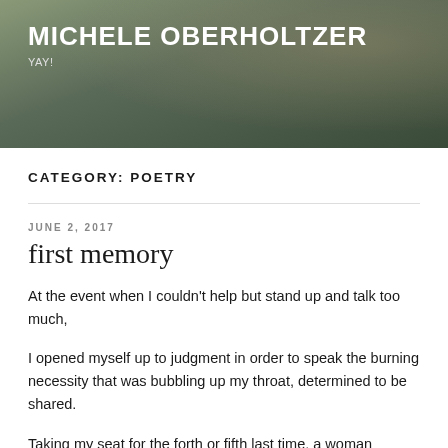[Figure (photo): Blog header banner photo showing plants/greenery on a table with dark overlay background]
MICHELE OBERHOLTZER
YAY!
CATEGORY: POETRY
JUNE 2, 2017
first memory
At the event when I couldn't help but stand up and talk too much,
I opened myself up to judgment in order to speak the burning necessity that was bubbling up my throat, determined to be shared.
Taking my seat for the forth or fifth last time, a woman